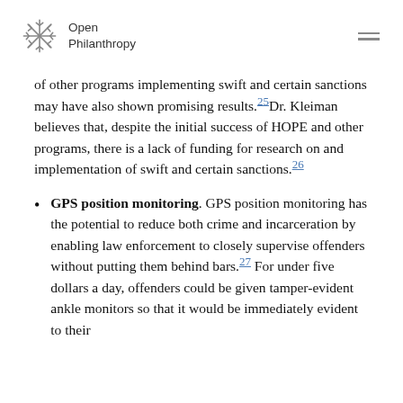Open Philanthropy
of other programs implementing swift and certain sanctions may have also shown promising results.25 Dr. Kleiman believes that, despite the initial success of HOPE and other programs, there is a lack of funding for research on and implementation of swift and certain sanctions.26
GPS position monitoring. GPS position monitoring has the potential to reduce both crime and incarceration by enabling law enforcement to closely supervise offenders without putting them behind bars.27 For under five dollars a day, offenders could be given tamper-evident ankle monitors so that it would be immediately evident to their